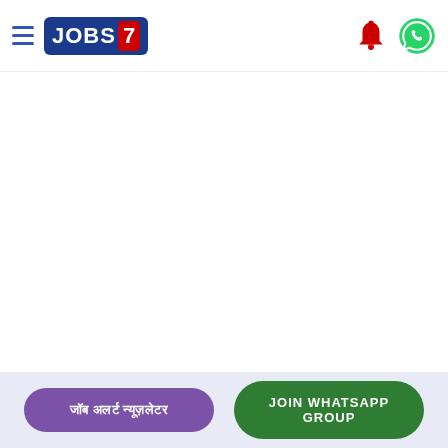JOBS7 - navigation header with hamburger menu, logo, bell icon, WhatsApp icon
[Figure (screenshot): Blank white main content area]
जॉब अलर्ट न्यूज़लेटर | JOIN WHATSAPP GROUP